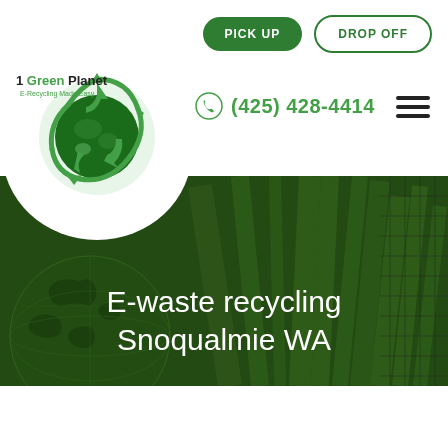PICK UP | DROP OFF
[Figure (logo): 1 Green Planet E-Recycling Made Easy logo with green recycling arrows and globe]
(425) 428-4414
[Figure (photo): Hero background image of green grass blades with dark green overlay and a globe graphic]
E-waste recycling Snoqualmie WA